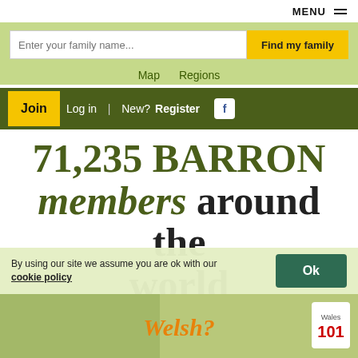MENU
Enter your family name...  Find my family
Map  Regions
Join  Log in  | New? Register
71,235 BARRON members around the world
Share
By using our site we assume you are ok with our cookie policy  Ok